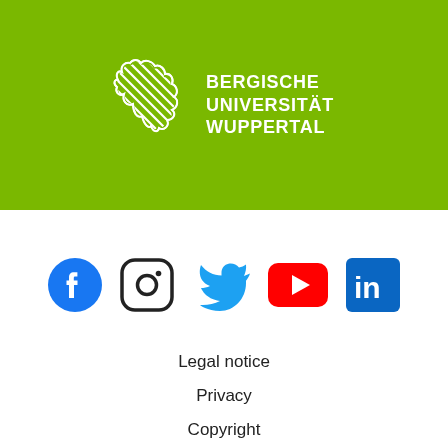[Figure (logo): Bergische Universität Wuppertal logo with lion emblem on green background and white text BERGISCHE UNIVERSITÄT WUPPERTAL]
[Figure (infographic): Social media icons row: Facebook (blue circle with f), Instagram (black rounded square camera), Twitter (blue bird), YouTube (red play button), LinkedIn (blue square with in)]
Legal notice
Privacy
Copyright